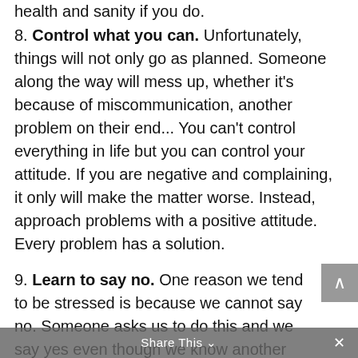health and sanity if you do.
8. Control what you can. Unfortunately, things will not only go as planned. Someone along the way will mess up, whether it's because of miscommunication, another problem on their end... You can't control everything in life but you can control your attitude. If you are negative and complaining, it only will make the matter worse. Instead, approach problems with a positive attitude. Every problem has a solution.
9. Learn to say no. One reason we tend to be stressed is because we cannot say no. Someone asks us to do this and we say yes even though we know another person wants something due on the same day. When I was waiting tables, I was told never
Share This ∨